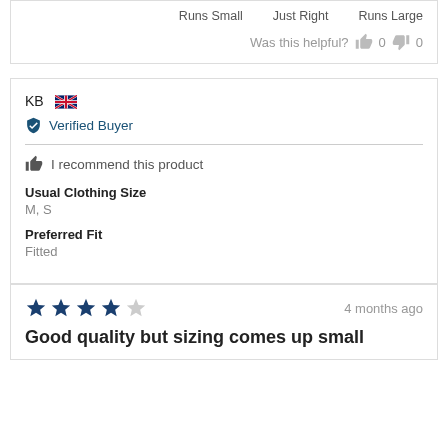Runs Small   Just Right   Runs Large
Was this helpful? 👍 0 👎 0
KB 🇬🇧
✔ Verified Buyer
👍 I recommend this product
Usual Clothing Size
M, S
Preferred Fit
Fitted
⭐⭐⭐⭐ 4 months ago
Good quality but sizing comes up small